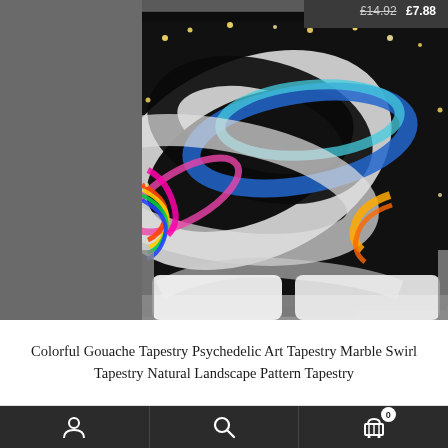£14.92  £7.88
[Figure (photo): A colorful psychedelic marble swirl tapestry hung on a wall above a bed with white pillows, decorated with fairy lights. The tapestry shows swirling patterns of black, white, blue, pink, yellow, red and rainbow colors.]
Colorful Gouache Tapestry Psychedelic Art Tapestry Marble Swirl Tapestry Natural Landscape Pattern Tapestry
[Figure (infographic): Mobile app bottom navigation bar with three icons: user/account icon on the left, search/magnifying glass icon in the center, and shopping cart icon with badge showing 0 on the right.]